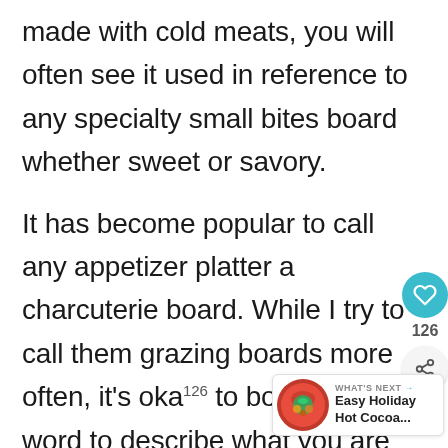made with cold meats, you will often see it used in reference to any specialty small bites board whether sweet or savory.
It has become popular to call any appetizer platter a charcuterie board. While I try to call them grazing boards more often, it's okay to borrow this word to describe what you are serving. It's far easy, and loved by most.
[Figure (other): Social sharing UI overlay: teal heart button with 126 count below it, and a share icon button beneath that.]
[Figure (other): What's Next card with a circular food image (holiday hot cocoa with green garnish) and text: WHAT'S NEXT → Easy Holiday Hot Cocoa...]